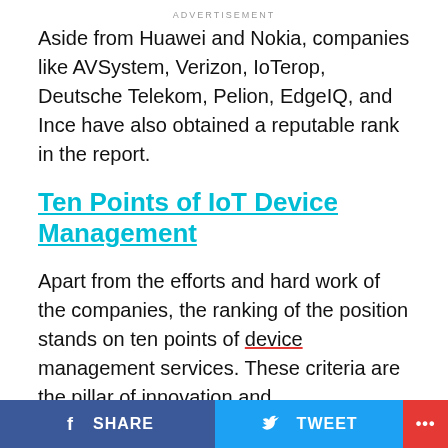ADVERTISEMENT
Aside from Huawei and Nokia, companies like AVSystem, Verizon, IoTerop, Deutsche Telekom, Pelion, EdgeIQ, and Ince have also obtained a reputable rank in the report.
Ten Points of IoT Device Management
Apart from the efforts and hard work of the companies, the ranking of the position stands on ten points of device management services. These criteria are the pillar of innovation and implementation. You can check the following vital points, below.
Communication Protocol breadth
Group Policies
SHARE   TWEET   ...